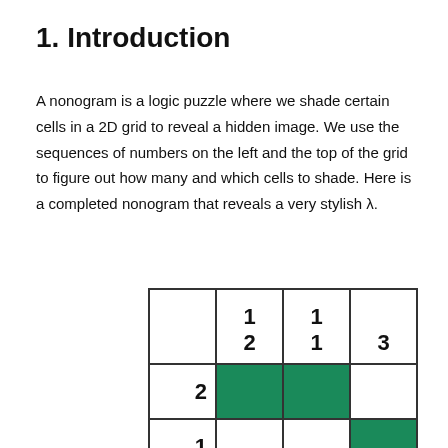1. Introduction
A nonogram is a logic puzzle where we shade certain cells in a 2D grid to reveal a hidden image. We use the sequences of numbers on the left and the top of the grid to figure out how many and which cells to shade. Here is a completed nonogram that reveals a very stylish λ.
[Figure (other): A partially visible nonogram (logic puzzle) grid with column headers showing numbers 1/2, 1/1, and 3, and row clues 2 and 1. Some cells are shaded green indicating filled cells.]